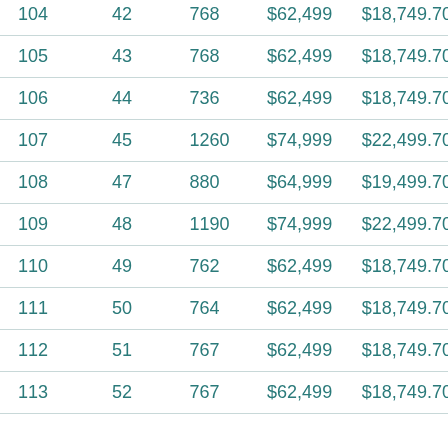| 104 | 42 | 768 | $62,499 | $18,749.70 |
| 105 | 43 | 768 | $62,499 | $18,749.70 |
| 106 | 44 | 736 | $62,499 | $18,749.70 |
| 107 | 45 | 1260 | $74,999 | $22,499.70 |
| 108 | 47 | 880 | $64,999 | $19,499.70 |
| 109 | 48 | 1190 | $74,999 | $22,499.70 |
| 110 | 49 | 762 | $62,499 | $18,749.70 |
| 111 | 50 | 764 | $62,499 | $18,749.70 |
| 112 | 51 | 767 | $62,499 | $18,749.70 |
| 113 | 52 | 767 | $62,499 | $18,749.70 |